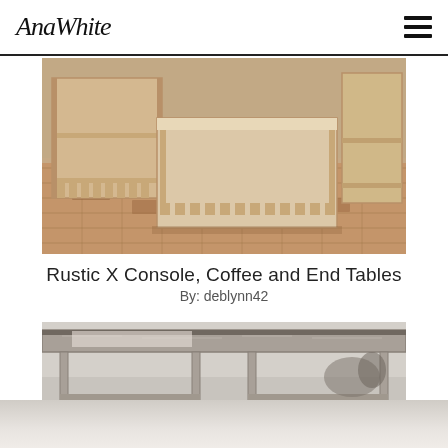AnaWhite
[Figure (photo): Photo of rustic wooden console table, coffee table, and end tables in natural wood finish on a tiled floor]
Rustic X Console, Coffee and End Tables
By: deblynn42
[Figure (photo): Close-up photo of a painted gray/white console table with lower shelf, top surface visible with reflective white floor below]